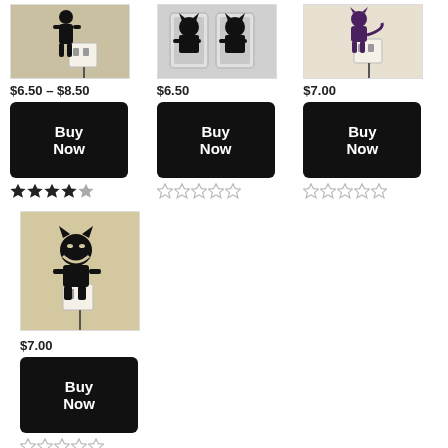[Figure (photo): Product image of wall decal sticker on outlet, dark silhouette figure]
$6.50 – $8.50
[Figure (other): Buy Now button black]
[Figure (other): Star rating: filled 5 stars]
[Figure (photo): Product image of wall decal sticker, two monster silhouettes on light switch plate]
$6.50
[Figure (other): Buy Now button black]
[Figure (other): Star rating: empty stars]
[Figure (photo): Product image of wall decal sticker on outlet, purple cat silhouette]
$7.00
[Figure (other): Buy Now button black]
[Figure (other): Star rating: empty stars]
[Figure (photo): Product image of wall decal sticker on outlet, cheshire cat silhouette smiling]
$7.00
[Figure (other): Buy Now button black]
[Figure (other): Star rating: empty stars]